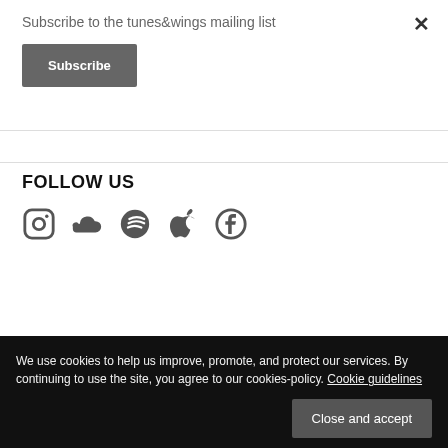Subscribe to the tunes&wings mailing list
Subscribe
FOLLOW US
[Figure (illustration): Social media icons: Instagram, SoundCloud, Spotify, Apple Music, Facebook]
We use cookies to help us improve, promote, and protect our services. By continuing to use the site, you agree to our cookies-policy. Cookie guidelines
Close and accept